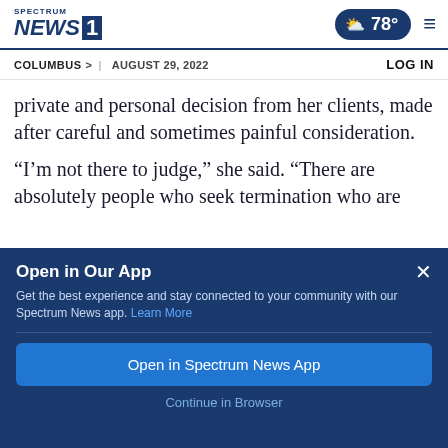Spectrum NEWS1 | 78° | Menu
COLUMBUS > | AUGUST 29, 2022 | LOG IN
private and personal decision from her clients, made after careful and sometimes painful consideration.
“I’m not there to judge,” she said. “There are absolutely people who seek termination who are
Open in Our App
Get the best experience and stay connected to your community with our Spectrum News app. Learn More
Open in Spectrum News App
Continue in Browser